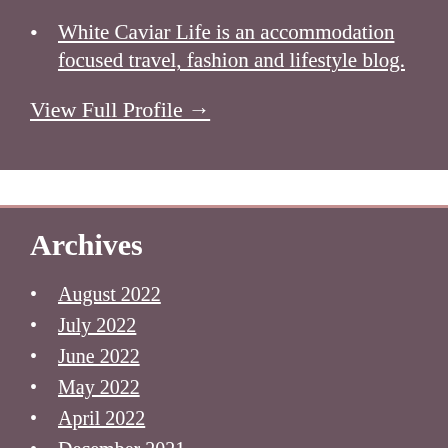White Caviar Life is an accommodation focused travel, fashion and lifestyle blog.
View Full Profile →
Archives
August 2022
July 2022
June 2022
May 2022
April 2022
December 2021
November 2021